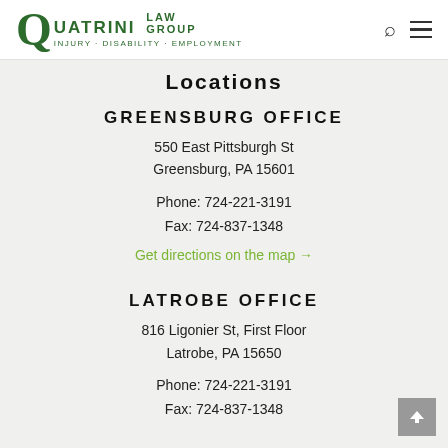[Figure (logo): Quatrini Law Group logo — large green Q with 'QUATRINI LAW GROUP' and 'INJURY · DISABILITY · EMPLOYMENT' tagline]
Locations
GREENSBURG OFFICE
550 East Pittsburgh St
Greensburg, PA 15601
Phone: 724-221-3191
Fax: 724-837-1348
Get directions on the map →
LATROBE OFFICE
816 Ligonier St, First Floor
Latrobe, PA 15650
Phone: 724-221-3191
Fax: 724-837-1348